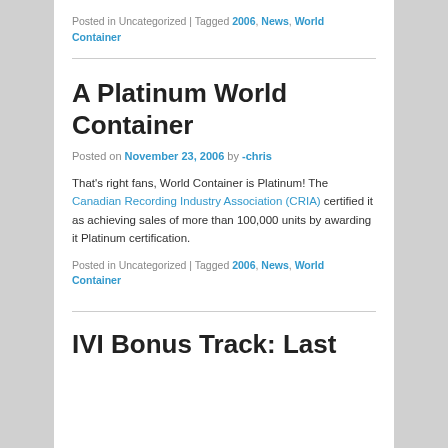Posted in Uncategorized | Tagged 2006, News, World Container
A Platinum World Container
Posted on November 23, 2006 by -chris
That's right fans, World Container is Platinum! The Canadian Recording Industry Association (CRIA) certified it as achieving sales of more than 100,000 units by awarding it Platinum certification.
Posted in Uncategorized | Tagged 2006, News, World Container
IVI Bonus Track: Last